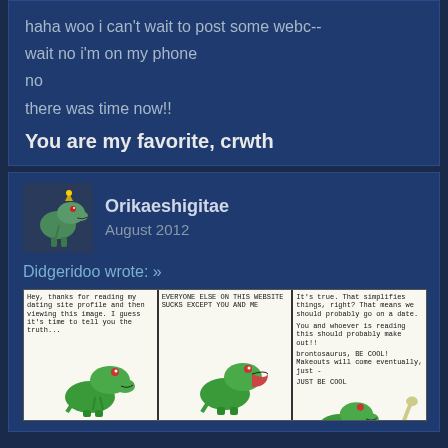haha woo i can't wait to post some webc--

wait no i'm on my phone

no

there was time now!!
You are my favorite, crwth
Orikaeshigitae
August 2012
Didgeridoo wrote: »
[Figure (illustration): A three-panel webcomic featuring cartoon T-Rex dinosaurs. Panel 1: a green T-Rex with text about reading a dating site profile. Panel 2: a T-Rex with open mouth and text 'EVERYONE ELSE ON THIS WEBSITE SUCKS EXCEPT YOU AND ME'. Panel 3: A T-Rex and smaller dinosaur with text about simplifying things and making out.]